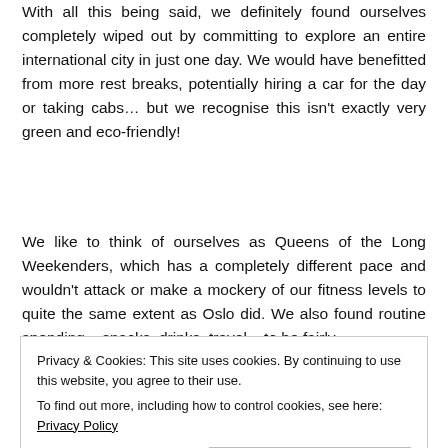With all this being said, we definitely found ourselves completely wiped out by committing to explore an entire international city in just one day. We would have benefitted from more rest breaks, potentially hiring a car for the day or taking cabs… but we recognise this isn't exactly very green and eco-friendly!
We like to think of ourselves as Queens of the Long Weekenders, which has a completely different pace and wouldn't attack or make a mockery of our fitness levels to quite the same extent as Oslo did. We also found routine spending – snacks, drinks, travel – to be fairly
Privacy & Cookies: This site uses cookies. By continuing to use this website, you agree to their use.
To find out more, including how to control cookies, see here: Privacy Policy
CLOSE & ACCCEPT
overnight stay or two, and having the freedom to see